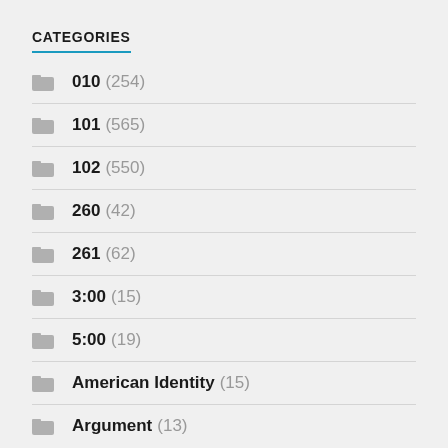CATEGORIES
010 (254)
101 (565)
102 (550)
260 (42)
261 (62)
3:00 (15)
5:00 (19)
American Identity (15)
Argument (13)